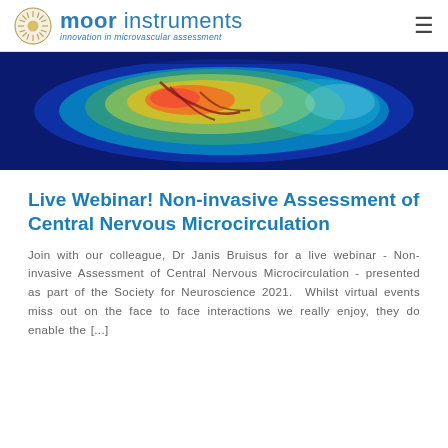moor instruments — innovation in microvascular assessment
[Figure (photo): False-color thermal/blood flow map of what appears to be a brain or tissue surface, showing gradient from blue (low) through green, yellow, to red/orange (high) regions, on a dark blue background.]
Live Webinar! Non-invasive Assessment of Central Nervous Microcirculation
Join with our colleague, Dr Janis Bruisus for a live webinar - Non-invasive Assessment of Central Nervous Microcirculation - presented as part of the Society for Neuroscience 2021.  Whilst virtual events miss out on the face to face interactions we really enjoy, they do enable the [...]